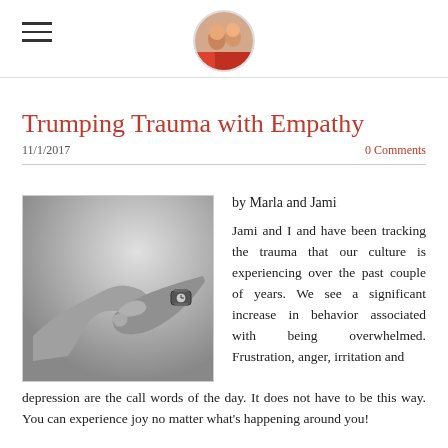[Navigation menu icon and circular avatar photo of two people]
Trumping Trauma with Empathy
11/1/2017   0 Comments
[Figure (photo): Black and white photo of two hands holding/clasping, one wearing a watch]
by Marla and Jami
Jami and I and have been tracking the trauma that our culture is experiencing over the past couple of years. We see a significant increase in behavior associated with being overwhelmed. Frustration, anger, irritation and depression are the call words of the day. It does not have to be this way. You can experience joy no matter what's happening around you!